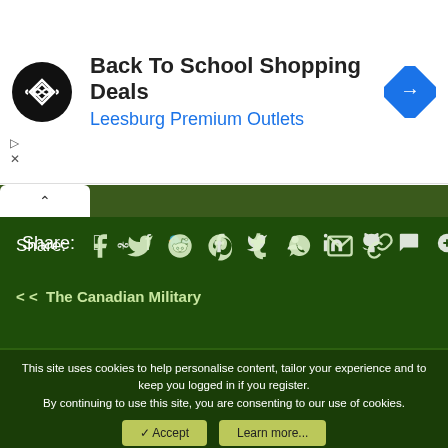[Figure (screenshot): Advertisement banner: Back To School Shopping Deals at Leesburg Premium Outlets with logo and navigation arrow icon]
Share:
< The Canadian Military
Default style   English (CA)
Contact us   Terms and rules   Privacy policy   Help   Home
Community platform by XenForo® © 2010-2022 XenForo Ltd.
This site uses cookies to help personalise content, tailor your experience and to keep you logged in if you register. By continuing to use this site, you are consenting to our use of cookies.